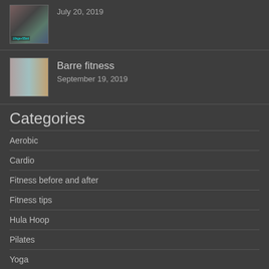[Figure (photo): Small thumbnail image showing fitness/before-after photo with label '10kgs+55ml']
July 20, 2019
[Figure (photo): Small thumbnail image showing two women in fitness attire, barre fitness related]
Barre fitness
September 19, 2019
Categories
Aerobic
Cardio
Fitness before and after
Fitness tips
Hula Hoop
Pilates
Yoga